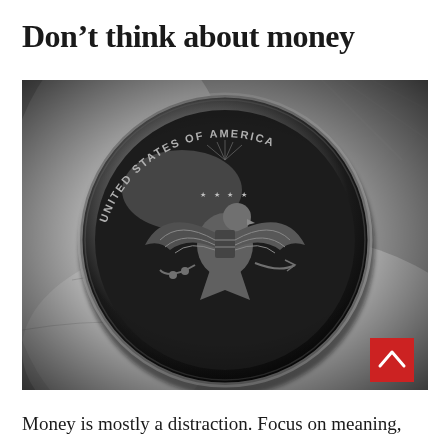Don’t think about money
[Figure (photo): Black and white close-up photograph of a US Kennedy half dollar coin being held in a hand, showing the eagle reverse side with 'UNITED STATES OF AMERICA' text around the coin rim.]
Money is mostly a distraction. Focus on meaning,